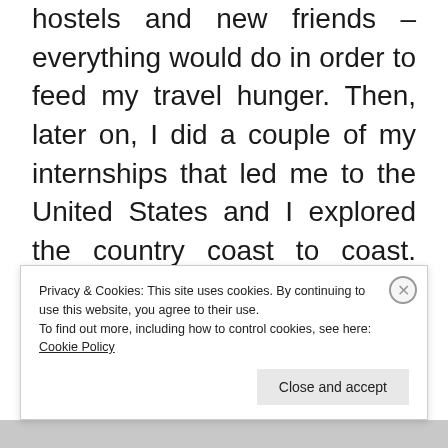hostels and new friends – everything would do in order to feed my travel hunger. Then, later on, I did a couple of my internships that led me to the United States and I explored the country coast to coast. After that I joined as a crew aboard one of the famous British fleet ships – Queen Victoria. That was an amazing opportunity to see the most fascinating places and corners of the world. And, of
Privacy & Cookies: This site uses cookies. By continuing to use this website, you agree to their use.
To find out more, including how to control cookies, see here: Cookie Policy